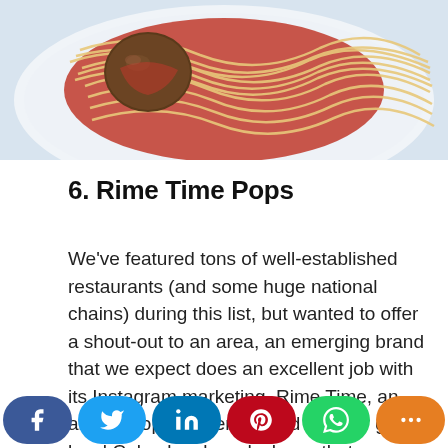[Figure (photo): A plate of spaghetti with meatballs and tomato sauce, viewed from slightly above, on a white plate with a light background.]
6. Rime Time Pops
We've featured tons of well-established restaurants (and some huge national chains) during this list, but wanted to offer a shout-out to an area, an emerging brand that we expect does an excellent job with its Instagram marketing. Rime Time, an artisan popsicle vendor and another great local Columbus brand, shows that even a little operation just starting out can shine on social media. They use Instagram to spotlight their fresh ingredients, pretty popsicles against colorful
[Figure (infographic): Social media sharing bar with buttons: Facebook (blue), Twitter (light blue), LinkedIn (dark blue), Pinterest (red), WhatsApp (green), More (orange).]